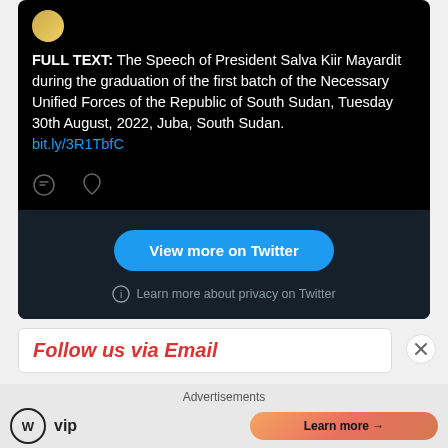[Figure (screenshot): Embedded Twitter/X post showing tweet text about President Salva Kiir Mayardit speech with a View more on Twitter button and privacy note]
FULL TEXT: The Speech of President Salva Kiir Mayardit during the graduation of the first batch of the Necessary Unified Forces of the Republic of South Sudan, Tuesday 30th August, 2022, Juba, South Sudan. bit.ly/3R1TbfC
View more on Twitter
Learn more about privacy on Twitter
Follow us via Email
Advertisements
[Figure (logo): WordPress VIP logo and Learn more advertisement banner]